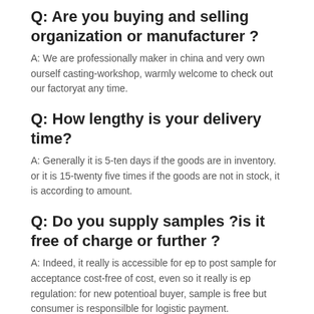Q: Are you buying and selling organization or manufacturer ?
A: We are professionally maker in china and very own ourself casting-workshop, warmly welcome to check out our factoryat any time.
Q: How lengthy is your delivery time?
A: Generally it is 5-ten days if the goods are in inventory. or it is 15-twenty five times if the goods are not in stock, it is according to amount.
Q: Do you supply samples ?is it free of charge or further ?
A: Indeed, it really is accessible for ep to post sample for acceptance cost-free of cost, even so it really is ep regulation: for new potentioal buyer, sample is free but consumer is responsilble for logistic payment.